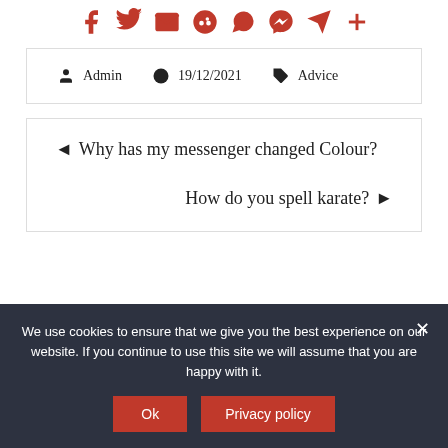[Figure (other): Row of social sharing icons in red: Facebook, Twitter, Email, Reddit, WhatsApp, Messenger, Telegram, Share/Plus]
Admin  19/12/2021  Advice
◄ Why has my messenger changed Colour?
How do you spell karate? ►
We use cookies to ensure that we give you the best experience on our website. If you continue to use this site we will assume that you are happy with it.
Ok   Privacy policy